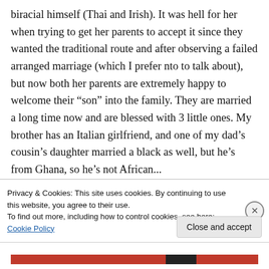biracial himself (Thai and Irish). It was hell for her when trying to get her parents to accept it since they wanted the traditional route and after observing a failed arranged marriage (which I prefer nto to talk about), but now both her parents are extremely happy to welcome their “son” into the family. They are married a long time now and are blessed with 3 little ones. My brother has an Italian girlfriend, and one of my dad’s cousin’s daughter married a black as well, but he’s from Ghana, so he’s not African...
Privacy & Cookies: This site uses cookies. By continuing to use this website, you agree to their use.
To find out more, including how to control cookies, see here: Cookie Policy
Close and accept